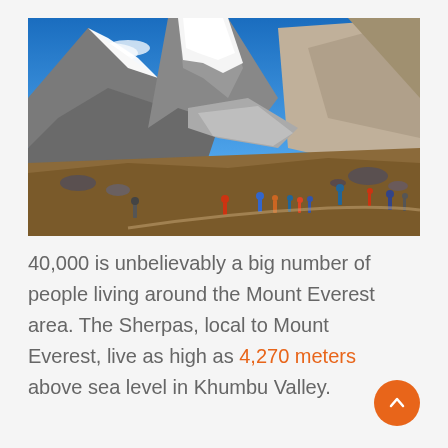[Figure (photo): Himalayan mountain landscape with rocky terrain, snow-capped peaks, blue sky with clouds, and a group of trekkers/hikers on a trail in the foreground. Brown and grey terrain with glacial features visible.]
40,000 is unbelievably a big number of people living around the Mount Everest area. The Sherpas, local to Mount Everest, live as high as 4,270 meters above sea level in Khumbu Valley.